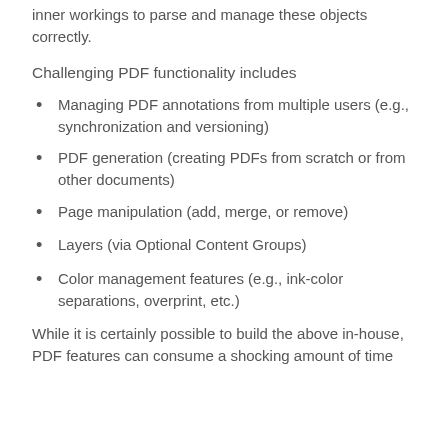inner workings to parse and manage these objects correctly.
Challenging PDF functionality includes
Managing PDF annotations from multiple users (e.g., synchronization and versioning)
PDF generation (creating PDFs from scratch or from other documents)
Page manipulation (add, merge, or remove)
Layers (via Optional Content Groups)
Color management features (e.g., ink-color separations, overprint, etc.)
While it is certainly possible to build the above in-house, PDF features can consume a shocking amount of time